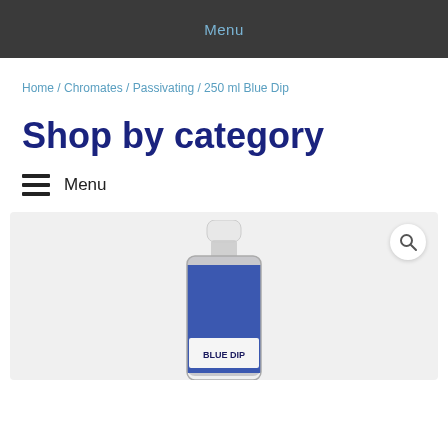Menu
Home / Chromates / Passivating / 250 ml Blue Dip
Shop by category
Menu
[Figure (photo): A small bottle of Blue Dip product with a white cap, containing a dark blue liquid, labeled 'BLUE DIP' on the bottle.]